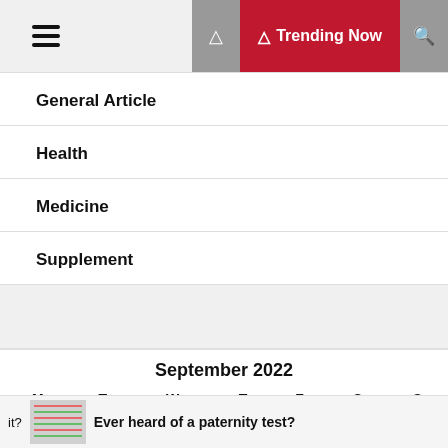Trending Now
General Article
Health
Medicine
Supplement
September 2022
| M | T | W | T | F | S | S |
| --- | --- | --- | --- | --- | --- | --- |
|  |  |  | 1 | 2 | 3 | 4 |
it?
Ever heard of a paternity test?